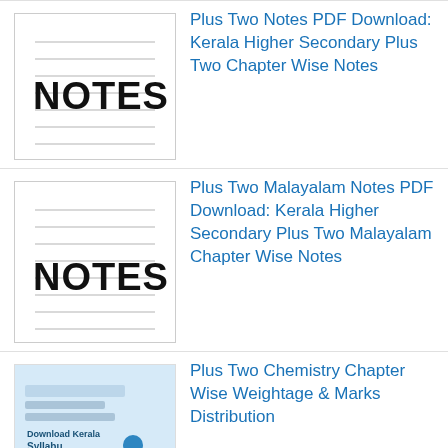Plus Two Notes PDF Download: Kerala Higher Secondary Plus Two Chapter Wise Notes
Plus Two Malayalam Notes PDF Download: Kerala Higher Secondary Plus Two Malayalam Chapter Wise Notes
Plus Two Chemistry Chapter Wise Weightage & Marks Distribution
Plus One Question Paper and Answers: HSSLIVE Plus One Previous Year Question Papers PDF Download
[Figure (infographic): Advertisement banner: Save Up to 65% - Leesburg Premium Outlets, with logo and navigation icon]